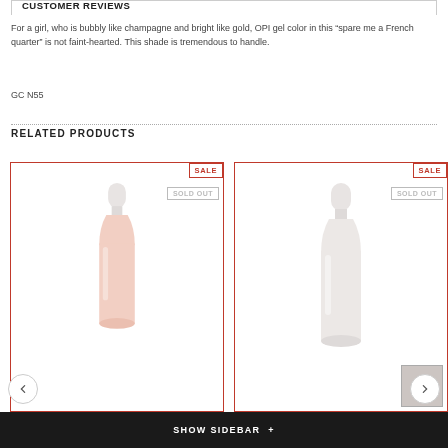CUSTOMER REVIEWS
For a girl, who is bubbly like champagne and bright like gold, OPI gel color in this “spare me a French quarter” is not faint-hearted. This shade is tremendous to handle.
GC N55
RELATED PRODUCTS
[Figure (photo): Two nail polish bottles with SALE and SOLD OUT badges, red border product cards]
SHOW SIDEBAR +